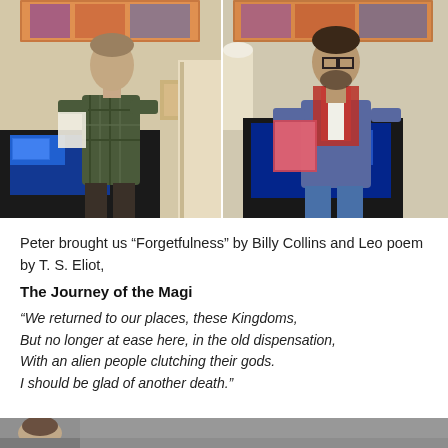[Figure (photo): Two side-by-side photos of men reading poems aloud in a room with artwork on the walls and a TV with a blue screen behind them. Left: man in plaid shirt holding papers. Right: man with glasses and red scarf holding a red folder.]
Peter brought us “Forgetfulness” by Billy Collins and Leo poem by T. S. Eliot,
The Journey of the Magi
“We returned to our places, these Kingdoms,
But no longer at ease here, in the old dispensation,
With an alien people clutching their gods.
I should be glad of another death.”
[Figure (photo): Partial bottom strip showing the beginning of another photo, appears to show a person's head/shoulders.]